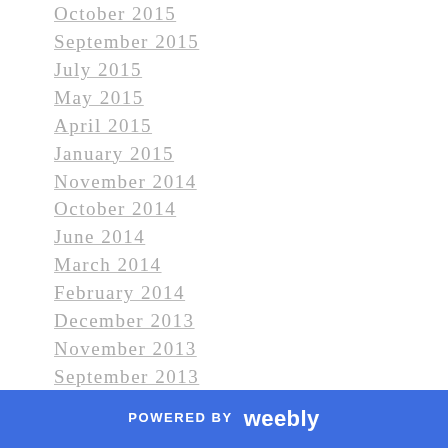October 2015
September 2015
July 2015
May 2015
April 2015
January 2015
November 2014
October 2014
June 2014
March 2014
February 2014
December 2013
November 2013
September 2013
July 2013
June 2013
May 2013
POWERED BY weebly